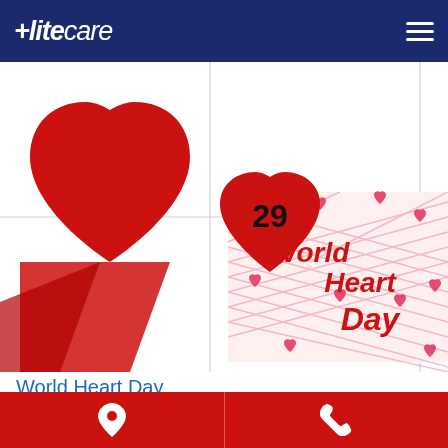Elitecare
[Figure (photo): A calendar page showing the number 29 inside a red heart with a decorative card reading 'World Heart Day' surrounded by pink hearts and red cross-hatch pattern. A large red heart shape is visible on the left side of the calendar.]
World Heart Day
World Heart Day is a global movement in which individuals, families
Location and phone contact buttons